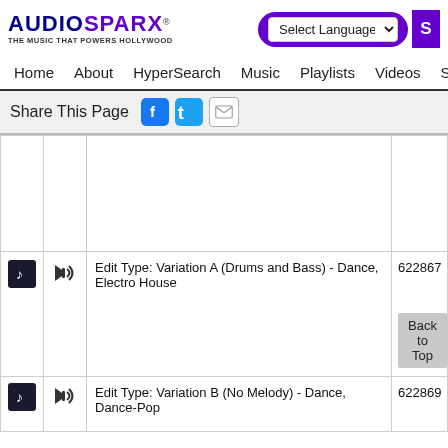AUDIOSPARX - THE MUSIC THAT POWERS HOLLYWOOD
Select Language | Home | About | HyperSearch | Music | Playlists | Videos | Sound
Share This Page
|  |  | Description | ID |
| --- | --- | --- | --- |
|  |  |  |  |
| [music icon] | [speaker] | Edit Type: Variation A (Drums and Bass) - Dance, Electro House | 622867 |
| [music icon] | [speaker] | Edit Type: Variation B (No Melody) - Dance, Dance-Pop | 622869 |